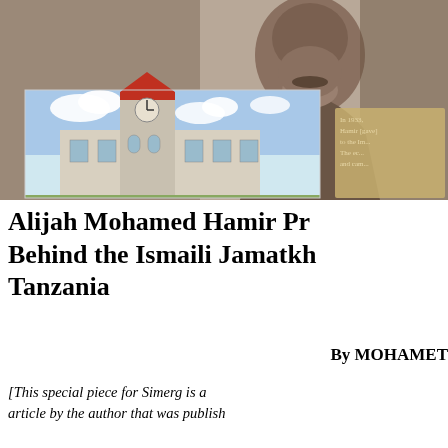[Figure (photo): Composite image: sepia-toned portrait of a man in the background (upper portion), overlaid with a color photograph of a building with a clock tower (Ismaili Jamatkhana), and a partial text overlay on the right side reading 'In 1933... Hamir [gave] to the Im... The ec... and cam...']
Alijah Mohamed Hamir Pr... Behind the Ismaili Jamatkh... Tanzania
By MOHAMET...
[This special piece for Simerg is a... article by the author that was publish... Ed.]